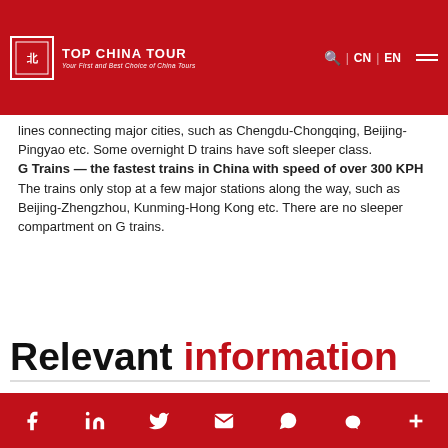TOP CHINA TOUR — Your First and Best Choice of China Tours
lines connecting major cities, such as Chengdu-Chongqing, Beijing- Pingyao etc. Some overnight D trains have soft sleeper class.
G Trains — the fastest trains in China with speed of over 300 KPH
The trains only stop at a few major stations along the way, such as Beijing-Zhengzhou, Kunming-Hong Kong etc. There are no sleeper compartment on G trains.
Relevant information
Beijing Daxing International Airport
Social media icons: Facebook, LinkedIn, Twitter, Email, WhatsApp, WeChat, More